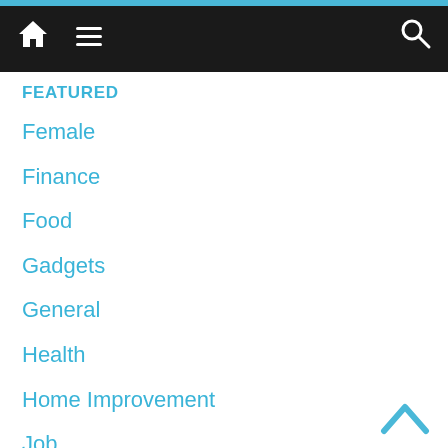[Figure (screenshot): Navigation bar with home icon, hamburger menu icon, and search icon on dark background with blue top stripe]
FEATURED
Female
Finance
Food
Gadgets
General
Health
Home Improvement
Job
Latest
Law
Lifestyle
Management